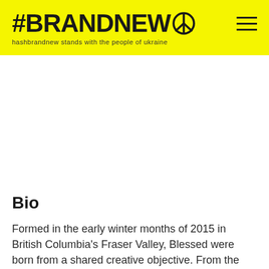#BRANDNEW☮ — hashbrandnew stands with the people of ukraine
Bio
Formed in the early winter months of 2015 in British Columbia's Fraser Valley, Blessed were born from a shared creative objective. From the start, its original four members found themselves naturally